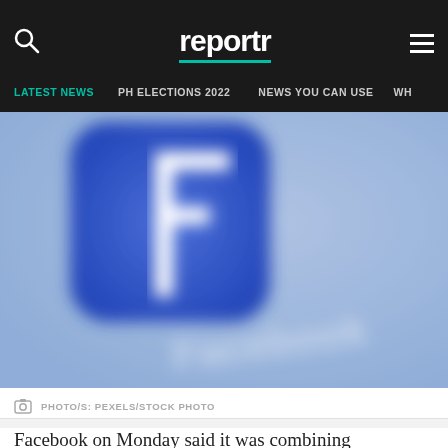reportr
LATEST NEWS  PH ELECTIONS 2022  NEWS YOU CAN USE  WH
[Figure (photo): Close-up blurred photo of Facebook app icon showing the letter F logo on a blue rounded square tile with the word Facebook partially visible]
PHOTO/S: PEXELS/STOCK PHOTO
Facebook on Monday said it was combining